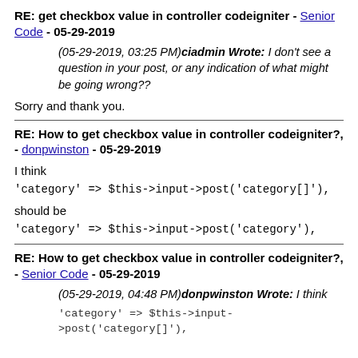RE: get checkbox value in controller codeigniter - Senior Code - 05-29-2019
(05-29-2019, 03:25 PM)ciadmin Wrote: I don't see a question in your post, or any indication of what might be going wrong??
Sorry and thank you.
RE: How to get checkbox value in controller codeigniter?, - donpwinston - 05-29-2019
I think
'category' => $this->input->post('category[]'),
should be
'category' => $this->input->post('category'),
RE: How to get checkbox value in controller codeigniter?, - Senior Code - 05-29-2019
(05-29-2019, 04:48 PM)donpwinston Wrote: I think